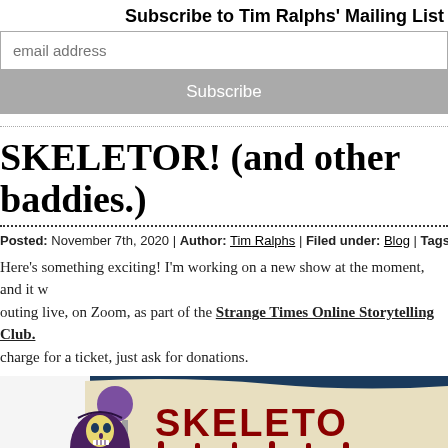Subscribe to Tim Ralphs' Mailing List
email address
Subscribe
SKELETOR! (and other baddies.)
Posted: November 7th, 2020 | Author: Tim Ralphs | Filed under: Blog | Tags: Skeletor | No…
Here's something exciting! I'm working on a new show at the moment, and it w… outing live, on Zoom, as part of the Strange Times Online Storytelling Club.… charge for a ticket, just ask for donations.
[Figure (illustration): Illustration showing Skeletor character holding a banner with 'SKELETO' text written in red dripping letters on a cream/beige banner, set against a dark blue background. A purple staff/orb is visible on the left.]